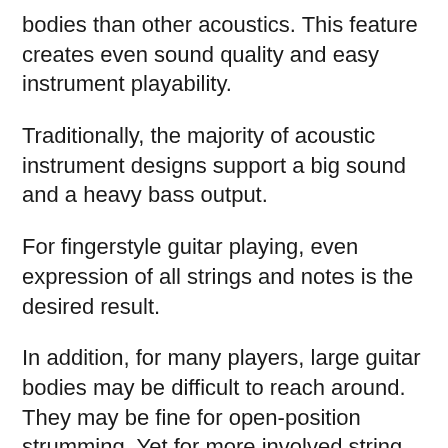bodies than other acoustics. This feature creates even sound quality and easy instrument playability.
Traditionally, the majority of acoustic instrument designs support a big sound and a heavy bass output.
For fingerstyle guitar playing, even expression of all strings and notes is the desired result.
In addition, for many players, large guitar bodies may be difficult to reach around. They may be fine for open-position strumming. Yet for more involved string playing requiring agile, fluid movement, a smaller guitar body is definitely a plus.